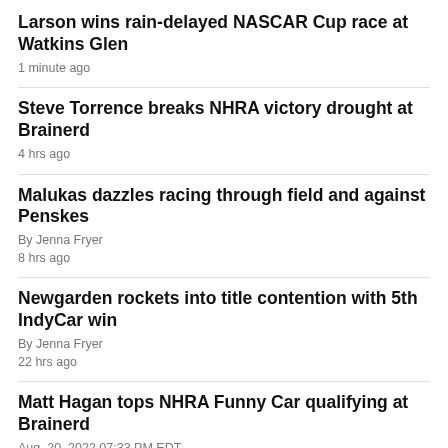Larson wins rain-delayed NASCAR Cup race at Watkins Glen
1 minute ago
Steve Torrence breaks NHRA victory drought at Brainerd
4 hrs ago
Malukas dazzles racing through field and against Penskes
By Jenna Fryer
8 hrs ago
Newgarden rockets into title contention with 5th IndyCar win
By Jenna Fryer
22 hrs ago
Matt Hagan tops NHRA Funny Car qualifying at Brainerd
Aug. 20, 2022 07:33 PM EDT